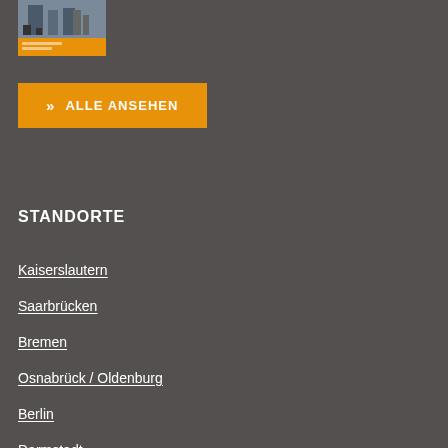[Figure (photo): Small thumbnail image showing people in an industrial or trade fair setting with orange branding bar at the bottom]
» ALLE ANSEHEN
STANDORTE
Kaiserslautern
Saarbrücken
Bremen
Osnabrück / Oldenburg
Berlin
Darmstadt